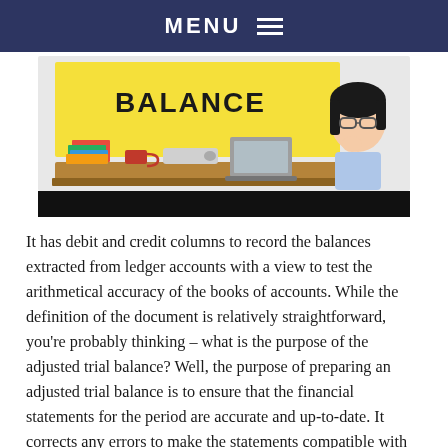MENU
[Figure (illustration): Cartoon illustration of a teacher standing behind a desk with books, a mug, a projector, and a laptop, in front of a board that says BALANCE with scissors emoji. Black bar at bottom of image.]
It has debit and credit columns to record the balances extracted from ledger accounts with a view to test the arithmetical accuracy of the books of accounts. While the definition of the document is relatively straightforward, you're probably thinking – what is the purpose of the adjusted trial balance? Well, the purpose of preparing an adjusted trial balance is to ensure that the financial statements for the period are accurate and up-to-date. It corrects any errors to make the statements compatible with the requirements of an applicable accounting framework.